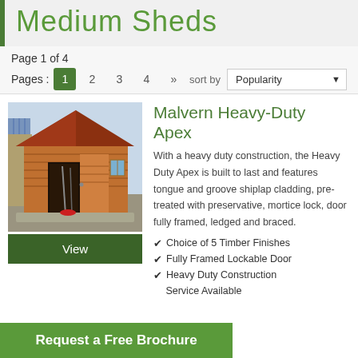Medium Sheds
Page 1 of 4
Pages : 1 2 3 4 »
sort by Popularity
[Figure (photo): Photo of a wooden medium apex shed with open door, cedar cladding, gravel base, garden tools visible inside.]
Malvern Heavy-Duty Apex
With a heavy duty construction, the Heavy Duty Apex is built to last and features tongue and groove shiplap cladding, pre-treated with preservative, mortice lock, door fully framed, ledged and braced.
Choice of 5 Timber Finishes
Fully Framed Lockable Door
Heavy Duty Construction
Service Available
View
Request a Free Brochure